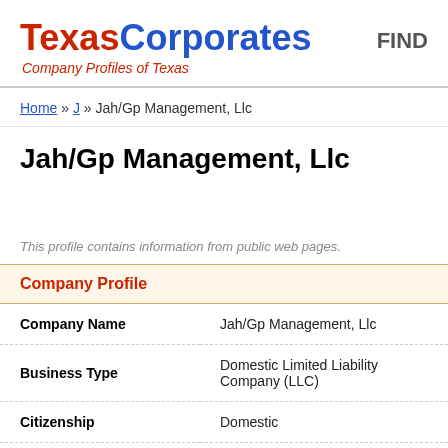Texas Corporates — Company Profiles of Texas
Home » J » Jah/Gp Management, Llc
Jah/Gp Management, Llc
This profile contains information from public web pages.
Company Profile
| Field | Value |
| --- | --- |
| Company Name | Jah/Gp Management, Llc |
| Business Type | Domestic Limited Liability Company (LLC) |
| Citizenship | Domestic |